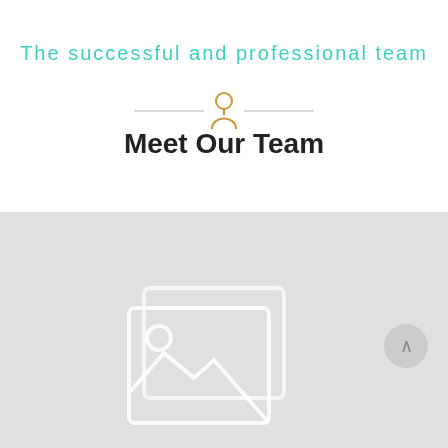English
The successful and professional team
[Figure (illustration): Decorative divider with horizontal lines on either side of a person/user icon in gold/amber color]
Meet Our Team
[Figure (illustration): Gray placeholder area with stacked image placeholder icons (two overlapping image frames with mountain and circle symbols) in light gray on a gray background]